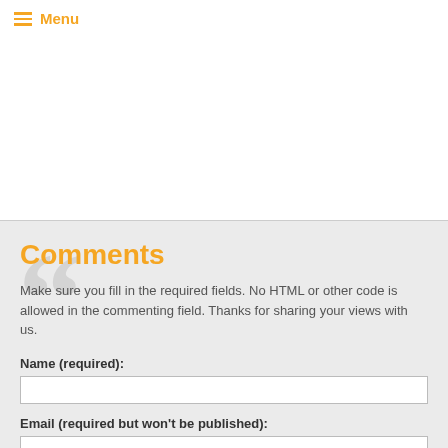≡ Menu
Comments
Make sure you fill in the required fields. No HTML or other code is allowed in the commenting field. Thanks for sharing your views with us.
Name (required):
Email (required but won't be published):